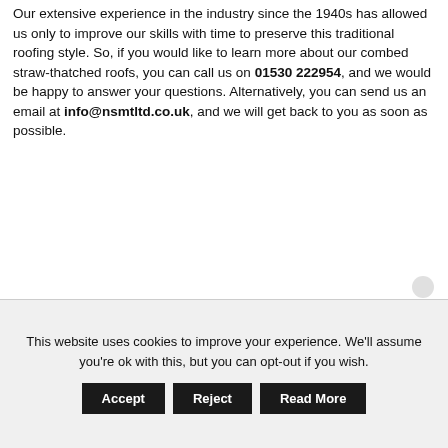Our extensive experience in the industry since the 1940s has allowed us only to improve our skills with time to preserve this traditional roofing style. So, if you would like to learn more about our combed straw-thatched roofs, you can call us on 01530 222954, and we would be happy to answer your questions. Alternatively, you can send us an email at info@nsmtltd.co.uk, and we will get back to you as soon as possible.
This website uses cookies to improve your experience. We'll assume you're ok with this, but you can opt-out if you wish.